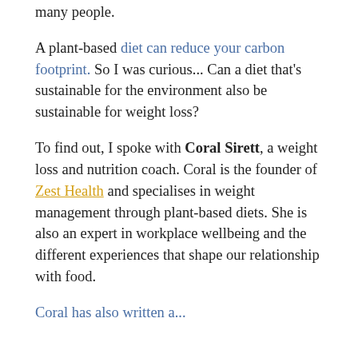many people.
A plant-based diet can reduce your carbon footprint. So I was curious... Can a diet that's sustainable for the environment also be sustainable for weight loss?
To find out, I spoke with Coral Sirett, a weight loss and nutrition coach. Coral is the founder of Zest Health and specialises in weight management through plant-based diets. She is also an expert in workplace wellbeing and the different experiences that shape our relationship with food.
Coral has also written a...